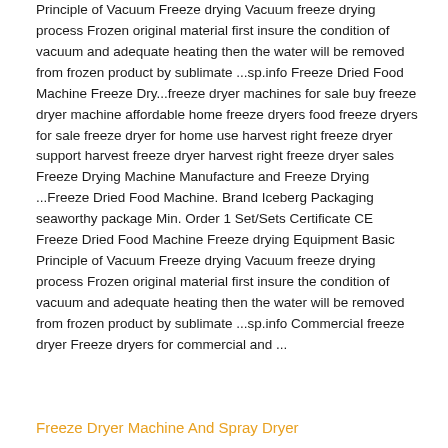Principle of Vacuum Freeze drying Vacuum freeze drying process Frozen original material first insure the condition of vacuum and adequate heating then the water will be removed from frozen product by sublimate ...sp.info Freeze Dried Food Machine Freeze Dry...freeze dryer machines for sale buy freeze dryer machine affordable home freeze dryers food freeze dryers for sale freeze dryer for home use harvest right freeze dryer support harvest freeze dryer harvest right freeze dryer sales Freeze Drying Machine Manufacture and Freeze Drying ...Freeze Dried Food Machine. Brand Iceberg Packaging seaworthy package Min. Order 1 Set/Sets Certificate CE Freeze Dried Food Machine Freeze drying Equipment Basic Principle of Vacuum Freeze drying Vacuum freeze drying process Frozen original material first insure the condition of vacuum and adequate heating then the water will be removed from frozen product by sublimate ...sp.info Commercial freeze dryer Freeze dryers for commercial and ...
Freeze Dryer Machine And Spray Dryer